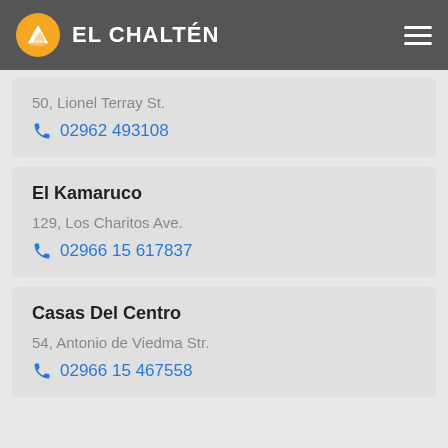EL CHALTÉN
50, Lionel Terray St.
02962 493108
El Kamaruco
129, Los Charitos Ave.
02966 15 617837
Casas Del Centro
54, Antonio de Viedma Str.
02966 15 467558